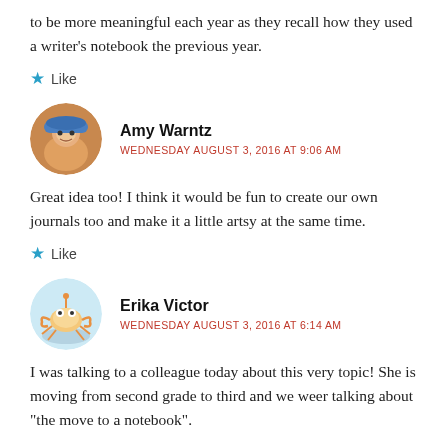to be more meaningful each year as they recall how they used a writer's notebook the previous year.
★ Like
Amy Warntz
WEDNESDAY AUGUST 3, 2016 AT 9:06 AM
Great idea too! I think it would be fun to create our own journals too and make it a little artsy at the same time.
★ Like
Erika Victor
WEDNESDAY AUGUST 3, 2016 AT 6:14 AM
I was talking to a colleague today about this very topic! She is moving from second grade to third and we weer talking about "the move to a notebook".